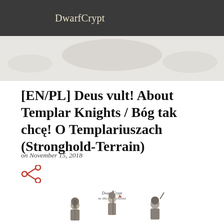DwarfCrypt
[Figure (illustration): Faded hero banner image area, partially visible illustration of Templar knights]
[EN/PL] Deus vult! About Templar Knights / Bóg tak chcę! O Templariuszach (Stronghold-Terrain)
on November 15, 2018
[Figure (illustration): Share icon (left-pointing share symbol in red/dark)]
[Figure (illustration): DwarfCrypt watermark logo and miniature Templar knights figurines illustration at bottom of page]